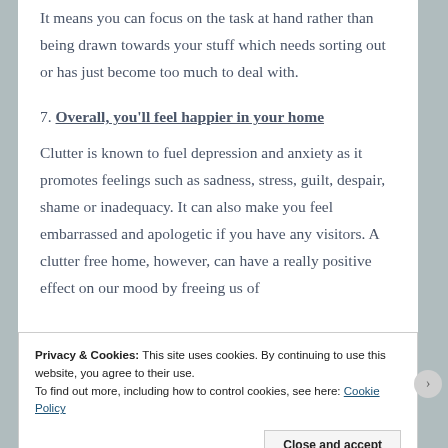It means you can focus on the task at hand rather than being drawn towards your stuff which needs sorting out or has just become too much to deal with.
7. Overall, you'll feel happier in your home
Clutter is known to fuel depression and anxiety as it promotes feelings such as sadness, stress, guilt, despair, shame or inadequacy. It can also make you feel embarrassed and apologetic if you have any visitors. A clutter free home, however, can have a really positive effect on our mood by freeing us of
Privacy & Cookies: This site uses cookies. By continuing to use this website, you agree to their use.
To find out more, including how to control cookies, see here: Cookie Policy
Close and accept